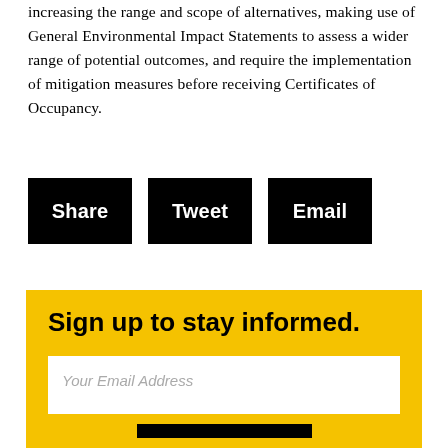increasing the range and scope of alternatives, making use of General Environmental Impact Statements to assess a wider range of potential outcomes, and require the implementation of mitigation measures before receiving Certificates of Occupancy.
[Figure (infographic): Three black buttons labeled Share, Tweet, and Email arranged horizontally]
Sign up to stay informed.
Your Email Address